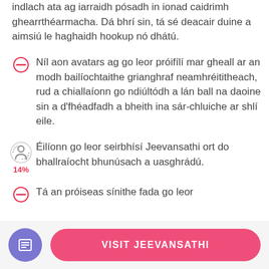indlach ata ag iarraidh pósadh in ionad caidrimh ghearrthéarmacha. Dá bhrí sin, tá sé deacair duine a aimsiú le haghaidh hookup nó dhátú.
Níl aon avatars ag go leor próifílí mar gheall ar an modh bailíochtaithe grianghraf neamhréititheach, rud a chiallaíonn go ndiúltódh a lán ball na daoine sin a d'fhéadfadh a bheith ina sár-chluiche ar shlí eile.
Éilíonn go leor seirbhísí Jeevansathi ort do bhallraíocht bhunúsach a uasghrádú. 14%
Tá an próiseas sínithe fada go leor